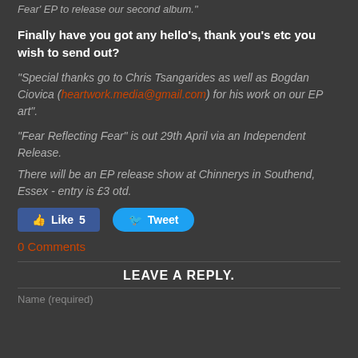Fear' EP to release our second album."
Finally have you got any hello's, thank you's etc you wish to send out?
"Special thanks go to Chris Tsangarides as well as Bogdan Ciovica (heartwork.media@gmail.com) for his work on our EP art".
"Fear Reflecting Fear" is out 29th April via an Independent Release.
There will be an EP release show at Chinnerys in Southend, Essex - entry is £3 otd.
[Figure (other): Facebook Like button showing 5 likes and Twitter Tweet button]
0 Comments
LEAVE A REPLY.
Name (required)